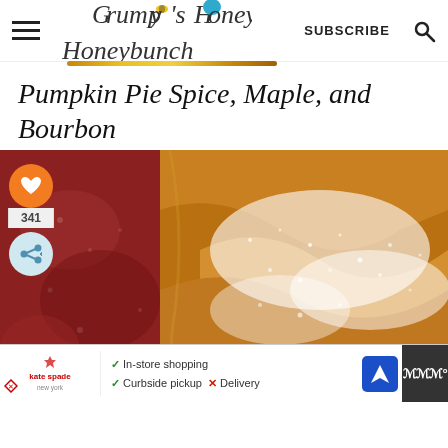Grumpy's Honeybunch | SUBSCRIBE
Pumpkin Pie Spice, Maple, and Bourbon
[Figure (photo): Close-up photo of baked pastry items dusted with powdered sugar, with a dark red-purple background item and golden-brown pastries in the foreground. Social sharing sidebar visible with heart icon (341 count) and share button.]
In-store shopping ✓ Curbside pickup ✗ Delivery